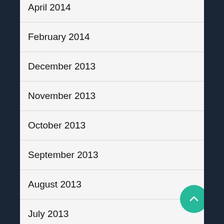April 2014
February 2014
December 2013
November 2013
October 2013
September 2013
August 2013
July 2013
June 2013
May 2013